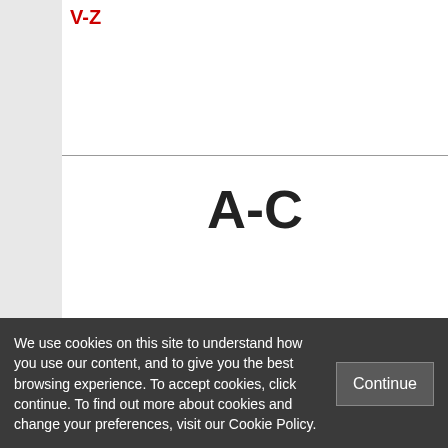V-Z
A-C
[Figure (photo): Profile photo placeholder for Paul Adamson with broken image icon]
Paul Adamson – Founder, E!Sharp
Paul Adamson is chairman of the Centre, Brussels' first think-do tank, which he co-founded in 2003. He is
We use cookies on this site to understand how you use our content, and to give you the best browsing experience. To accept cookies, click continue. To find out more about cookies and change your preferences, visit our Cookie Policy.